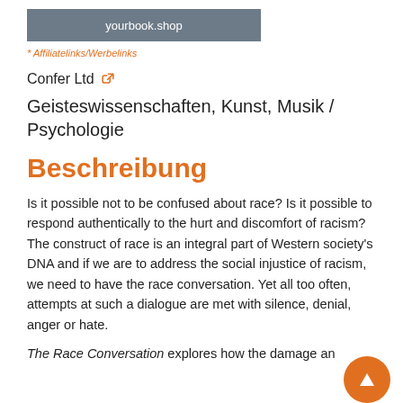yourbook.shop
* Affiliatelinks/Werbelinks
Confer Ltd 🔗
Geisteswissenschaften, Kunst, Musik / Psychologie
Beschreibung
Is it possible not to be confused about race? Is it possible to respond authentically to the hurt and discomfort of racism? The construct of race is an integral part of Western society's DNA and if we are to address the social injustice of racism, we need to have the race conversation. Yet all too often, attempts at such a dialogue are met with silence, denial, anger or hate.
The Race Conversation explores how the damage and discomfort...